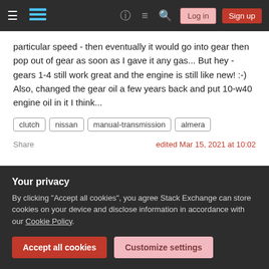Stack Exchange navigation bar with hamburger menu, logo, help, chat, search, Log in, Sign up buttons
particular speed - then eventually it would go into gear then pop out of gear as soon as I gave it any gas... But hey - gears 1-4 still work great and the engine is still like new! :-) Also, changed the gear oil a few years back and put 10-w40 engine oil in it I think...
clutch
nissan
manual-transmission
almera
Share    edited Mar 15, 2021 at 10:02
Your privacy
By clicking "Accept all cookies", you agree Stack Exchange can store cookies on your device and disclose information in accordance with our Cookie Policy.